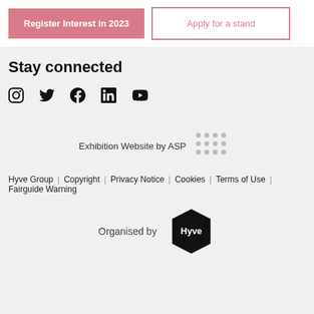[Figure (other): Two buttons: 'Register Interest in 2023' (pink filled) and 'Apply for a stand' (pink outline)]
Stay connected
[Figure (other): Social media icons: Instagram, Twitter, Facebook, LinkedIn, YouTube]
[Figure (logo): Exhibition Website by ASP with ASP dot-grid logo]
Hyve Group  Copyright  Privacy Notice  Cookies  Terms of Use  Fairguide Warning
[Figure (logo): Organised by Hyve logo (hexagon shape with Hyve text in white)]